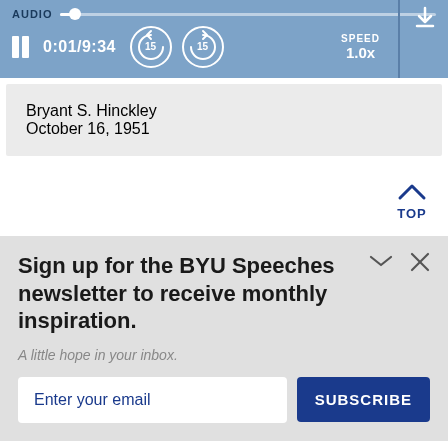[Figure (screenshot): Audio player bar with label AUDIO, progress track, pause button, time display 0:01/9:34, rewind 15s button, forward 15s button, SPEED 1.0x control, vertical divider, and download arrow icon]
Bryant S. Hinckley
October 16, 1951
[Figure (other): TOP navigation link with upward chevron icon]
Sign up for the BYU Speeches newsletter to receive monthly inspiration.
A little hope in your inbox.
Enter your email
SUBSCRIBE